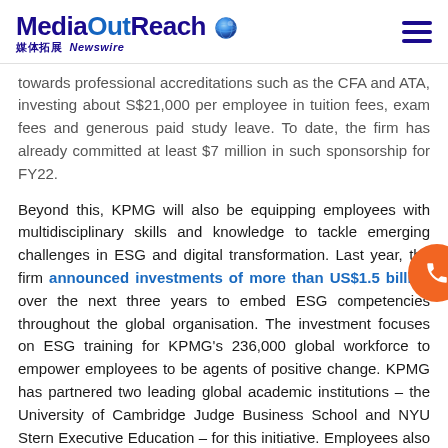MediaOutReach 媒体拓展 Newswire
towards professional accreditations such as the CFA and ATA, investing about S$21,000 per employee in tuition fees, exam fees and generous paid study leave. To date, the firm has already committed at least $7 million in such sponsorship for FY22.
Beyond this, KPMG will also be equipping employees with multidisciplinary skills and knowledge to tackle emerging challenges in ESG and digital transformation. Last year, the firm announced investments of more than US$1.5 billion over the next three years to embed ESG competencies throughout the global organisation. The investment focuses on ESG training for KPMG's 236,000 global workforce to empower employees to be agents of positive change. KPMG has partnered two leading global academic institutions – the University of Cambridge Judge Business School and NYU Stern Executive Education – for this initiative. Employees also have